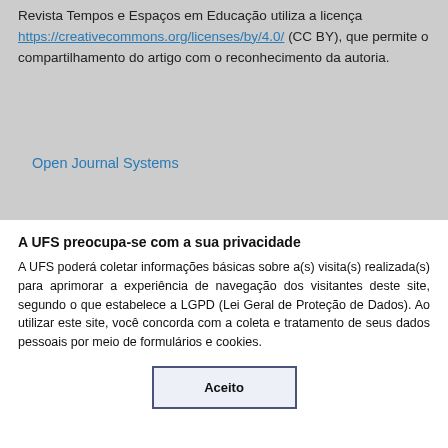Revista Tempos e Espaços em Educação utiliza a licença https://creativecommons.org/licenses/by/4.0/ (CC BY), que permite o compartilhamento do artigo com o reconhecimento da autoria.
Open Journal Systems
A UFS preocupa-se com a sua privacidade
A UFS poderá coletar informações básicas sobre a(s) visita(s) realizada(s) para aprimorar a experiência de navegação dos visitantes deste site, segundo o que estabelece a LGPD (Lei Geral de Proteção de Dados). Ao utilizar este site, você concorda com a coleta e tratamento de seus dados pessoais por meio de formulários e cookies.